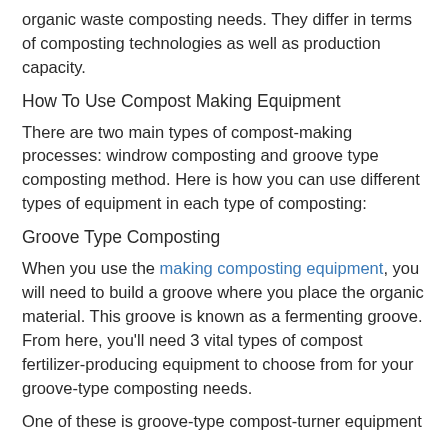organic waste composting needs. They differ in terms of composting technologies as well as production capacity.
How To Use Compost Making Equipment
There are two main types of compost-making processes: windrow composting and groove type composting method. Here is how you can use different types of equipment in each type of composting:
Groove Type Composting
When you use the making composting equipment, you will need to build a groove where you place the organic material. This groove is known as a fermenting groove. From here, you'll need 3 vital types of compost fertilizer-producing equipment to choose from for your groove-type composting needs.
One of these is groove-type compost-turner equipment